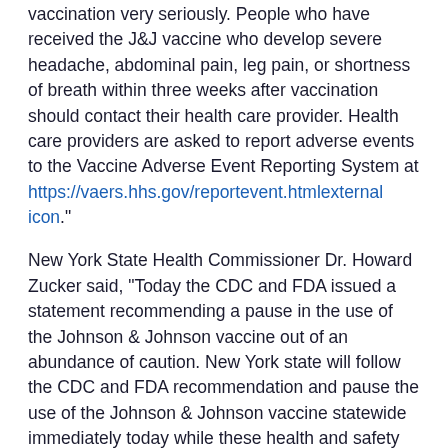vaccination very seriously. People who have received the J&J vaccine who develop severe headache, abdominal pain, leg pain, or shortness of breath within three weeks after vaccination should contact their health care provider. Health care providers are asked to report adverse events to the Vaccine Adverse Event Reporting System at https://vaers.hhs.gov/reportevent.htmlexternal icon."
New York State Health Commissioner Dr. Howard Zucker said, "Today the CDC and FDA issued a statement recommending a pause in the use of the Johnson & Johnson vaccine out of an abundance of caution. New York state will follow the CDC and FDA recommendation and pause the use of the Johnson & Johnson vaccine statewide immediately today while these health and safety agencies evaluate next steps. All appointments for Johnson & Johnson vaccines today at New York state mass-vaccination sites will be honored with the Pfizer vaccine.